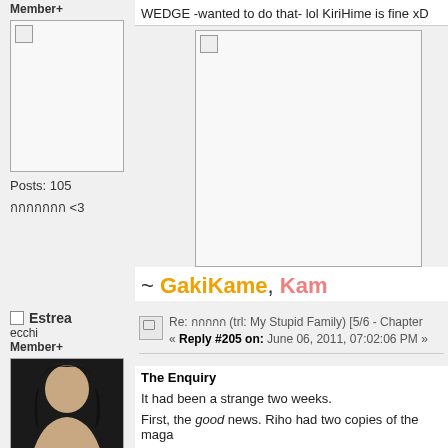Member+
[Figure (photo): Broken/unloaded avatar image placeholder in white box]
Posts: 105
กกกกกกก <3
[Figure (photo): Broken/unloaded image placeholder, wider box]
~ GakiKame, Kam
Estrea
ecchi
Member+
Re: กกกกก (trl: My Stupid Family) [5/6 - Chapter
« Reply #205 on: June 06, 2011, 07:02:06 PM »
The Enquiry
It had been a strange two weeks.
First, the good news. Riho had two copies of the maga